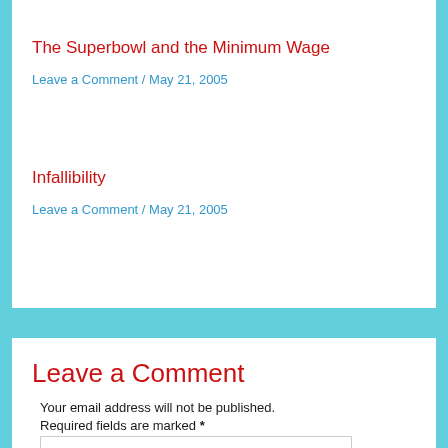The Superbowl and the Minimum Wage
Leave a Comment / May 21, 2005
Infallibility
Leave a Comment / May 21, 2005
Leave a Comment
Your email address will not be published.
Required fields are marked *